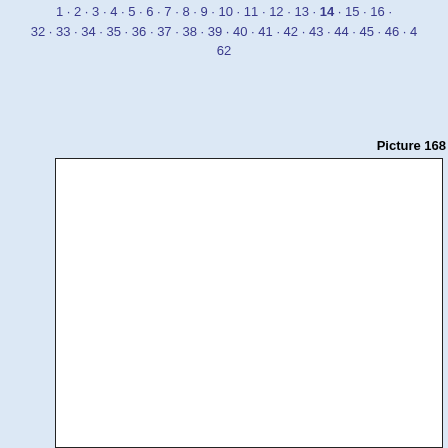1 · 2 · 3 · 4 · 5 · 6 · 7 · 8 · 9 · 10 · 11 · 12 · 13 · 14 · 15 · 16 · 32 · 33 · 34 · 35 · 36 · 37 · 38 · 39 · 40 · 41 · 42 · 43 · 44 · 45 · 46 · 4 · 62
Picture 168
[Figure (other): Large empty white rectangular box with a thin black border, representing Picture 168 placeholder.]